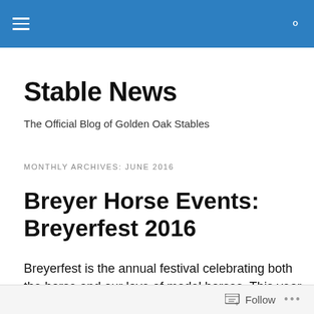Stable News
The Official Blog of Golden Oak Stables
MONTHLY ARCHIVES: JUNE 2016
Breyer Horse Events: Breyerfest 2016
Breyerfest is the annual festival celebrating both the horse and our love of model horses. This year celebrates both the 27th year for Breyerfest as well as the country of Brazil
Follow